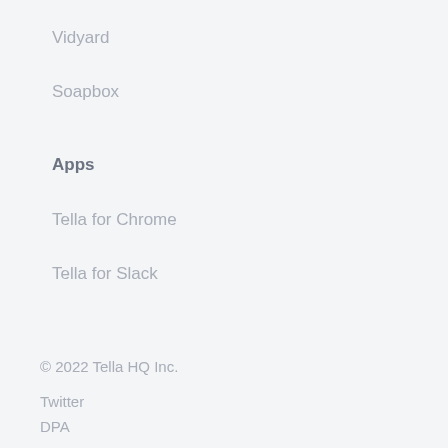Vidyard
Soapbox
Apps
Tella for Chrome
Tella for Slack
© 2022 Tella HQ Inc.
Twitter
DPA
Terms of service
Privacy policy